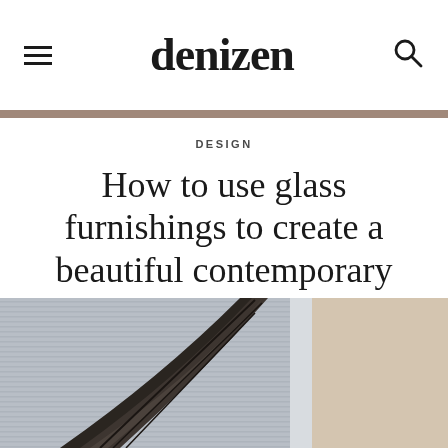denizen
DESIGN
How to use glass furnishings to create a beautiful contemporary home
[Figure (photo): Architectural photo showing curved glass and metallic building facade with horizontal ribbed paneling in the background]